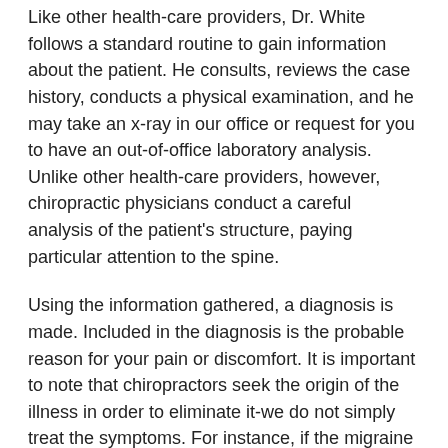Like other health-care providers, Dr. White follows a standard routine to gain information about the patient. He consults, reviews the case history, conducts a physical examination, and he may take an x-ray in our office or request for you to have an out-of-office laboratory analysis. Unlike other health-care providers, however, chiropractic physicians conduct a careful analysis of the patient's structure, paying particular attention to the spine.
Using the information gathered, a diagnosis is made. Included in the diagnosis is the probable reason for your pain or discomfort. It is important to note that chiropractors seek the origin of the illness in order to eliminate it-we do not simply treat the symptoms. For instance, if the migraine headache you've had all week is being caused by misaligned vertebra and an irritated nerve, do you continue to take pain killers indefinitely, or do you realign the vertebra to prevent the pain?